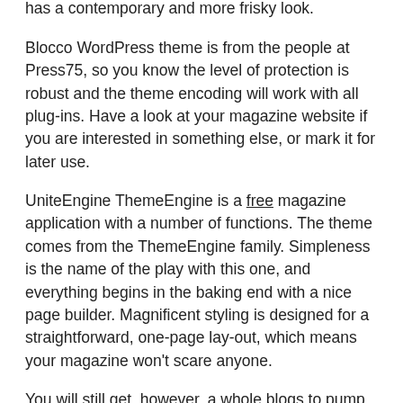magazine topics on the mailing lists, but it also has a contemporary and more frisky look.
Blocco WordPress theme is from the people at Press75, so you know the level of protection is robust and the theme encoding will work with all plug-ins. Have a look at your magazine website if you are interested in something else, or mark it for later use.
UniteEngine ThemeEngine is a free magazine application with a number of functions. The theme comes from the ThemeEngine family. Simpleness is the name of the play with this one, and everything begins in the baking end with a nice page builder. Magnificent styling is designed for a straightforward, one-page lay-out, which means your magazine won't scare anyone.
You will still get, however, a whole blogs to pump out these items. Its design is focused on user-friendliness, and the appealing lay-out gets the action underway. As this is a one-page topic, you have the option of customizing a large selection of homepage lines.